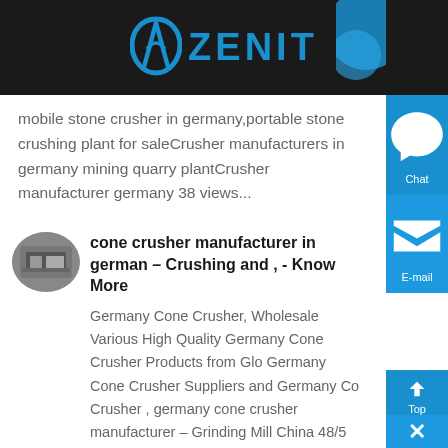ZENIT
mobile stone crusher in germany,portable stone crushing plant for saleCrusher manufacturers in germany mining quarry plantCrusher manufacturer germany 38 views...
cone crusher manufacturer in german – Crushing and , - Know More
Germany Cone Crusher, Wholesale Various High Quality Germany Cone Crusher Products from Glo Germany Cone Crusher Suppliers and Germany Co Crusher , germany cone crusher manufacturer – Grinding Mill China 48/5 82K ratings...
Cone Crusher Manufacturers | Facebo